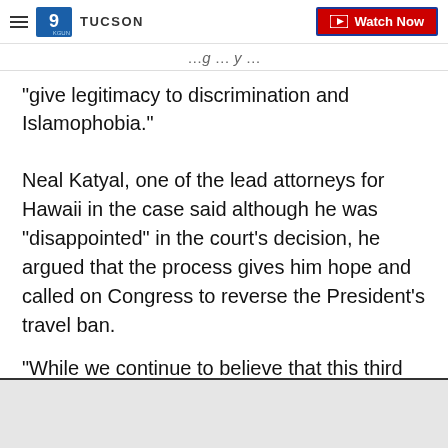9 KGUN TUCSON | Watch Now
"give legitimacy to discrimination and Islamophobia."
Neal Katyal, one of the lead attorneys for Hawaii in the case said although he was "disappointed" in the court's decision, he argued that the process gives him hope and called on Congress to reverse the President's travel ban.
"While we continue to believe that this third version fails that test, there is no question that by striking
[Figure (screenshot): CLOSE button overlay with X dismiss icon at bottom right of page]